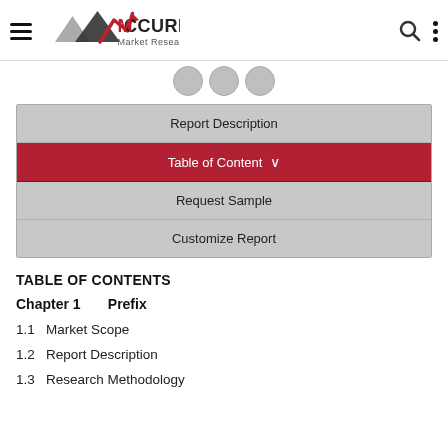[Figure (logo): Accurize Market Research logo with stylized mountain/arrow graphic and company name]
Report Description
Table of Content ∨
Request Sample
Customize Report
TABLE OF CONTENTS
Chapter 1    Prefix
1.1  Market Scope
1.2  Report Description
1.3  Research Methodology